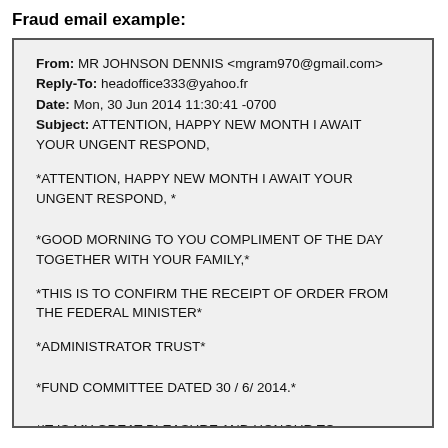Fraud email example:
From: MR JOHNSON DENNIS <mgram970@gmail.com>
Reply-To: headoffice333@yahoo.fr
Date: Mon, 30 Jun 2014 11:30:41 -0700
Subject: ATTENTION, HAPPY NEW MONTH I AWAIT YOUR UNGENT RESPOND,

*ATTENTION, HAPPY NEW MONTH I AWAIT YOUR UNGENT RESPOND, *


*GOOD MORNING TO YOU COMPLIMENT OF THE DAY TOGETHER WITH YOUR FAMILY,*

*THIS IS TO CONFIRM THE RECEIPT OF ORDER FROM THE FEDERAL MINISTER*

*ADMINISTRATOR TRUST*



*FUND COMMITTEE DATED 30 / 6/ 2014.*



*IT IS MY GREAT PLEASURE AND HONOUR TO